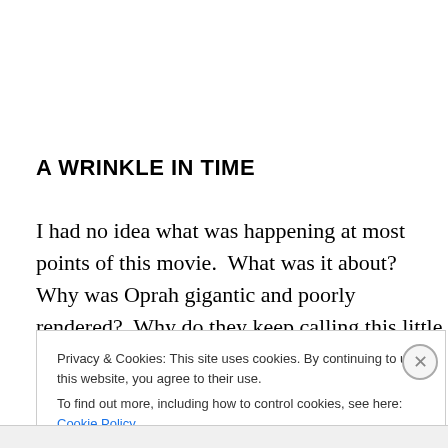A WRINKLE IN TIME
I had no idea what was happening at most points of this movie.  What was it about?  Why was Oprah gigantic and poorly rendered?  Why do they keep calling this little boy by his full name every single time they talk to him or refer
Privacy & Cookies: This site uses cookies. By continuing to use this website, you agree to their use.
To find out more, including how to control cookies, see here: Cookie Policy
Close and accept